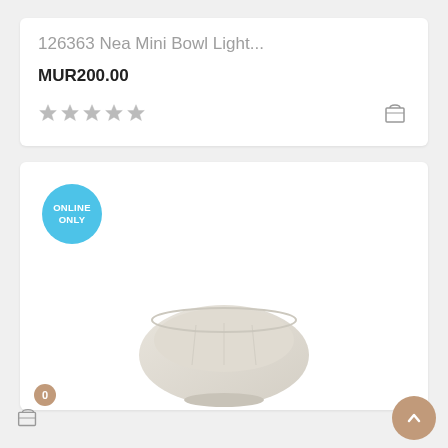126363 Nea Mini Bowl Light...
MUR200.00
[Figure (other): Five star rating icons (empty/gray stars) with a shopping bag icon on the right]
[Figure (other): Product listing card with 'ONLINE ONLY' badge (blue circle) and a ceramic bowl image at the bottom]